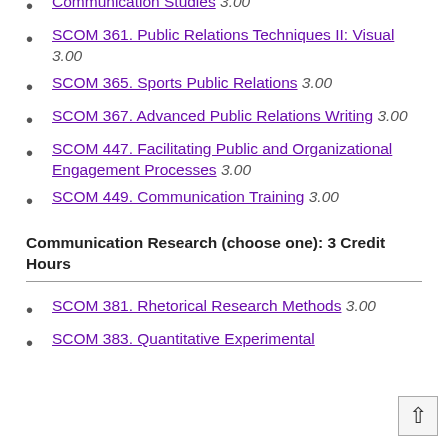Communication Studies 3.00
SCOM 361. Public Relations Techniques II: Visual 3.00
SCOM 365. Sports Public Relations 3.00
SCOM 367. Advanced Public Relations Writing 3.00
SCOM 447. Facilitating Public and Organizational Engagement Processes 3.00
SCOM 449. Communication Training 3.00
Communication Research (choose one): 3 Credit Hours
SCOM 381. Rhetorical Research Methods 3.00
SCOM 383. Quantitative Experimental